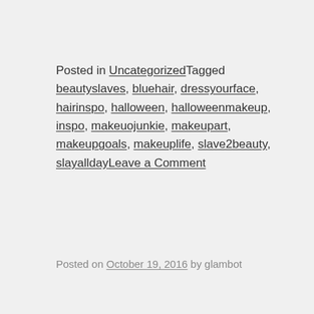Posted in UncategorizedTagged beautyslaves, bluehair, dressyourface, hairinspo, halloween, halloweenmakeup, inspo, makeuojunkie, makeupart, makeupgoals, makeuplife, slave2beauty, slayalldayLeave a Comment
Posted on October 19, 2016 by glambot
[Figure (other): Broken/placeholder image thumbnail with green image icon in top-left corner]